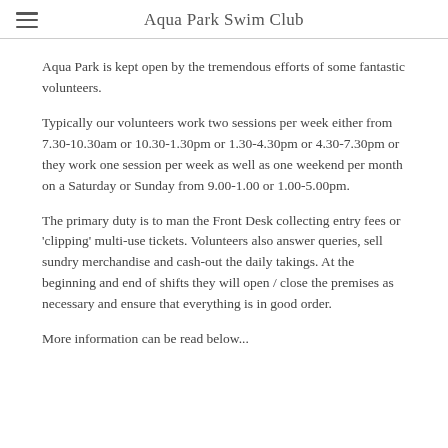Aqua Park Swim Club
Aqua Park is kept open by the tremendous efforts of some fantastic volunteers.
Typically our volunteers work two sessions per week either from 7.30-10.30am or 10.30-1.30pm or 1.30-4.30pm or 4.30-7.30pm or they work one session per week as well as one weekend per month on a Saturday or Sunday from 9.00-1.00 or 1.00-5.00pm.
The primary duty is to man the Front Desk collecting entry fees or 'clipping' multi-use tickets. Volunteers also answer queries, sell sundry merchandise and cash-out the daily takings. At the beginning and end of shifts they will open / close the premises as necessary and ensure that everything is in good order.
More information can be read below...